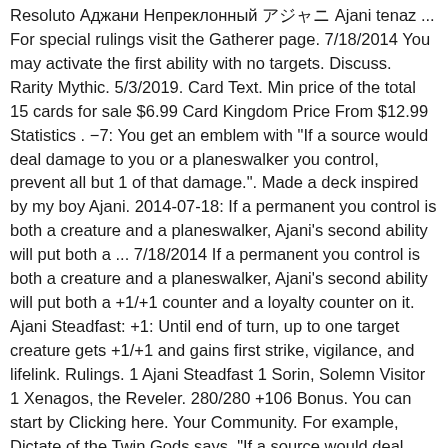Resoluto Аджани Непреклонный アジャニ Ajani tenaz ... For special rulings visit the Gatherer page. 7/18/2014 You may activate the first ability with no targets. Discuss. Rarity Mythic. 5/3/2019. Card Text. Min price of the total 15 cards for sale $6.99 Card Kingdom Price From $12.99 Statistics . −7: You get an emblem with "If a source would deal damage to you or a planeswalker you control, prevent all but 1 of that damage.". Made a deck inspired by my boy Ajani. 2014-07-18: If a permanent you control is both a creature and a planeswalker, Ajani's second ability will put both a ... 7/18/2014 If a permanent you control is both a creature and a planeswalker, Ajani's second ability will put both a +1/+1 counter and a loyalty counter on it. Ajani Steadfast: +1: Until end of turn, up to one target creature gets +1/+1 and gains first strike, vigilance, and lifelink. Rulings. 1 Ajani Steadfast 1 Sorin, Solemn Visitor 1 Xenagos, the Reveler. 280/280 +106 Bonus. You can start by Clicking here. Your Community. For example, Dictate of the Twin Gods says, "If a source would deal damage to a permanent or a player, it deals double that damage to that permanent or player"